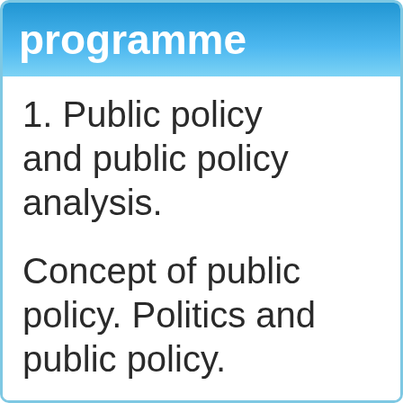programme
1. Public policy and public policy analysis.
Concept of public policy. Politics and public policy.